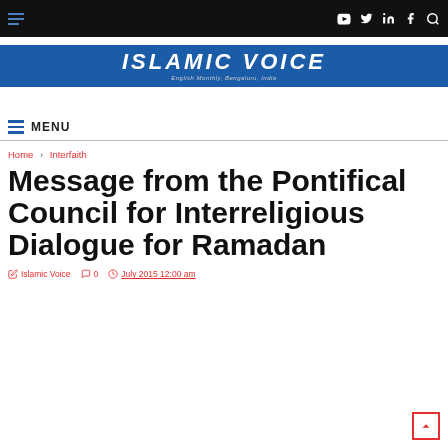MENU
[Figure (logo): Islamic Voice logo banner — blue background with white bold italic text 'Islamic Voice' and tagline 'English Monthly, Bengaluru, India']
Home › Interfaith
Message from the Pontifical Council for Interreligious Dialogue for Ramadan
Islamic Voice   0   July 2015 12:00 am